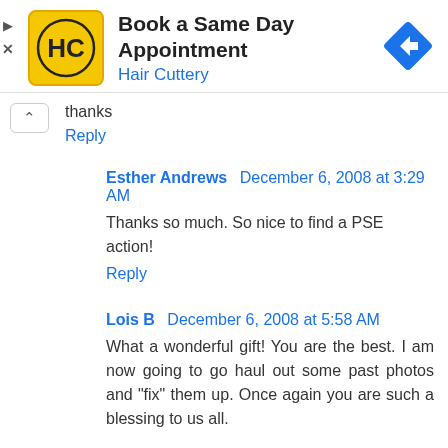[Figure (screenshot): Hair Cuttery advertisement banner with yellow logo showing HC letters, title 'Book a Same Day Appointment', subtitle 'Hair Cuttery', and a blue diamond direction arrow icon on the right.]
thanks
Reply
Esther Andrews December 6, 2008 at 3:29 AM
Thanks so much. So nice to find a PSE action!
Reply
Lois B December 6, 2008 at 5:58 AM
What a wonderful gift! You are the best. I am now going to go haul out some past photos and "fix" them up. Once again you are such a blessing to us all.
Happy Birthday Duke - you are so lucky to have such a super Mommy!